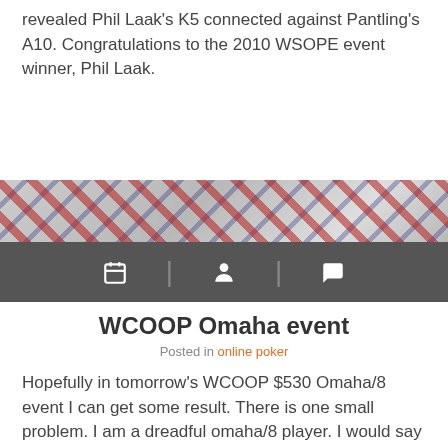revealed Phil Laak's K5 connected against Pantling's A10. Congratulations to the 2010 WSOPE event winner, Phil Laak.
[Figure (photo): Background image of playing cards spread out on a surface, with red and blue card designs visible.]
WCOOP Omaha event
Posted in online poker
Hopefully in tomorrow's WCOOP $530 Omaha/8 event I can get some result. There is one small problem. I am a dreadful omaha/8 player. I would say aside from stud it is my worst poker game. Oh well. Wish me luck!
And I thought I was bad at Omaha/8. during the first hour I played great and increased my chips a nice